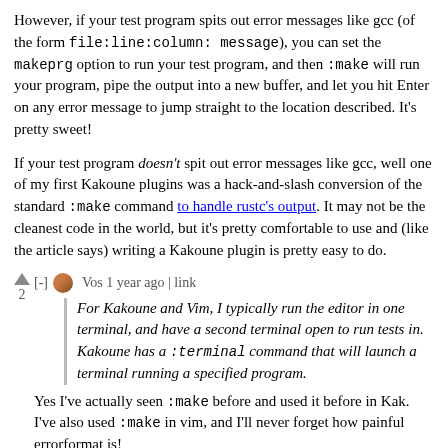However, if your test program spits out error messages like gcc (of the form file:line:column: message), you can set the makeprg option to run your test program, and then :make will run your program, pipe the output into a new buffer, and let you hit Enter on any error message to jump straight to the location described. It's pretty sweet!
If your test program doesn't spit out error messages like gcc, well one of my first Kakoune plugins was a hack-and-slash conversion of the standard :make command to handle rustc's output. It may not be the cleanest code in the world, but it's pretty comfortable to use and (like the article says) writing a Kakoune plugin is pretty easy to do.
[-] Vos 1 year ago | link
For Kakoune and Vim, I typically run the editor in one terminal, and have a second terminal open to run tests in. Kakoune has a :terminal command that will launch a terminal running a specified program.
Yes I've actually seen :make before and used it before in Kak. I've also used :make in vim, and I'll never forget how painful errorformat is!
With Kakoune I didn't really like the fact that it's not modal